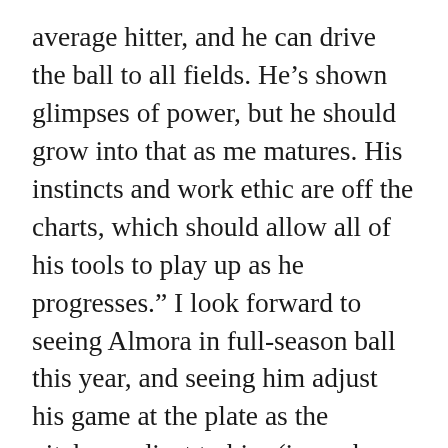average hitter, and he can drive the ball to all fields. He’s shown glimpses of power, but he should grow into that as me matures. His instincts and work ethic are off the charts, which should allow all of his tools to play up as he progresses.” I look forward to seeing Almora in full-season ball this year, and seeing him adjust his game at the plate as the pitchers adjust to him (i.e., when he can’t simply hit everything that’s thrown his way, even if he is able to hit everything that’s thrown his way – because he’s got to focus on selecting pitches he can drive